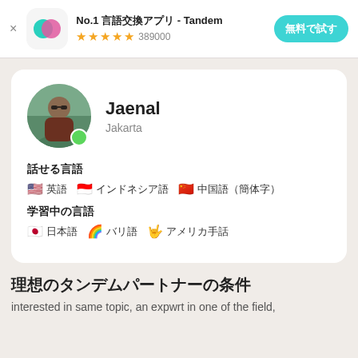[Figure (screenshot): App advertisement banner for Tandem language exchange app with icon, star rating, and call-to-action button]
Jaenal
Jakarta
話せる言語
🇺🇸 英語　🇮🇩 インドネシア語　🇨🇳 中国語（簡体字）
学習中の言語
🇯🇵 日本語　🌈 バリ語　🤟 アメリカ手話
理想のタンデムパートナーの条件
interested in same topic, an expwrt in one of the field,